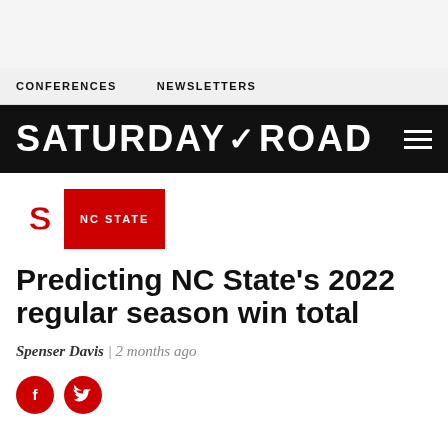CONFERENCES   NEWSLETTERS
SATURDAY ROAD
NC STATE
Predicting NC State's 2022 regular season win total
Spenser Davis | 2 months ago